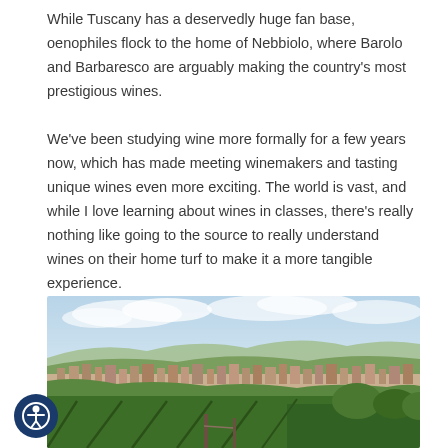While Tuscany has a deservedly huge fan base, oenophiles flock to the home of Nebbiolo, where Barolo and Barbaresco are arguably making the country's most prestigious wines.
We've been studying wine more formally for a few years now, which has made meeting winemakers and tasting unique wines even more exciting. The world is vast, and while I love learning about wines in classes, there's really nothing like going to the source to really understand wines on their home turf to make it a more tangible experience.
[Figure (photo): Aerial landscape photograph of a hillside vineyard town, likely in the Piedmont region of Italy (Barolo/Barbaresco area), showing green vineyards in the foreground, a town with buildings below, and hills with light blue sky in the background.]